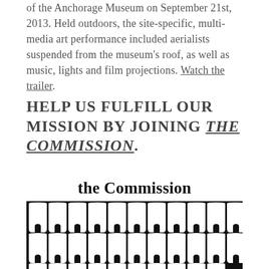of the Anchorage Museum on September 21st, 2013. Held outdoors, the site-specific, multi-media art performance included aerialists suspended from the museum's roof, as well as music, lights and film projections. Watch the trailer.
HELP US FULFILL OUR MISSION BY JOINING THE COMMISSION.
[Figure (illustration): Logo and artwork for 'the Commission' showing repeated silhouettes of robed figures in black and white arranged in three rows against a black background, with the text 'the Commission' above in gothic/blackletter font.]